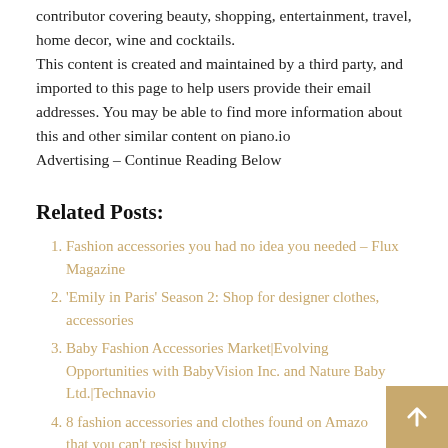contributor covering beauty, shopping, entertainment, travel, home decor, wine and cocktails.
This content is created and maintained by a third party, and imported to this page to help users provide their email addresses. You may be able to find more information about this and other similar content on piano.io
Advertising – Continue Reading Below
Related Posts:
Fashion accessories you had no idea you needed – Flux Magazine
'Emily in Paris' Season 2: Shop for designer clothes, accessories
Baby Fashion Accessories Market|Evolving Opportunities with BabyVision Inc. and Nature Baby Ltd.|Technavio
8 fashion accessories and clothes found on Amazon that you can't resist buying